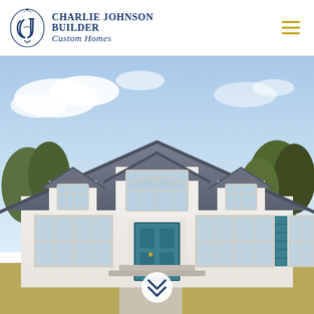Charlie Johnson Builder Custom Homes
[Figure (photo): Exterior photo of a white custom home with three dormers, gray shingles, teal front door, teal shutters, and a double-car garage area. Landscaped front yard with red mulch flower beds and dry winter grass. Bright partly cloudy sky with trees in background.]